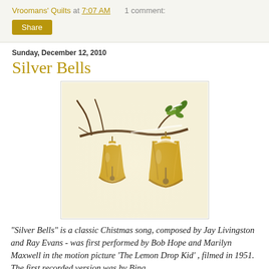Vroomans' Quilts at 7:07 AM   1 comment:
Share
Sunday, December 12, 2010
Silver Bells
[Figure (illustration): Illustration of two golden/brass bells hanging from a snowy branch with green mistletoe leaves, on a light golden background]
"Silver Bells" is a classic Chistmas song, composed by Jay Livingston and Ray Evans - was first performed by Bob Hope and Marilyn Maxwell in the motion picture 'The Lemon Drop Kid' , filmed in 1951. The first recorded version was by Bing